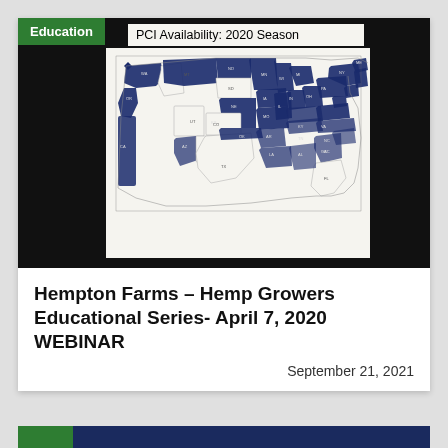Education
PCI Availability: 2020 Season
[Figure (map): US map showing counties/states shaded in dark navy blue indicating PCI availability for the 2020 season, with unshaded (cream/white) areas indicating no availability. Coverage visible across northern states, parts of the west coast, midwest, and eastern seaboard.]
Hempton Farms – Hemp Growers Educational Series- April 7, 2020 WEBINAR
September 21, 2021